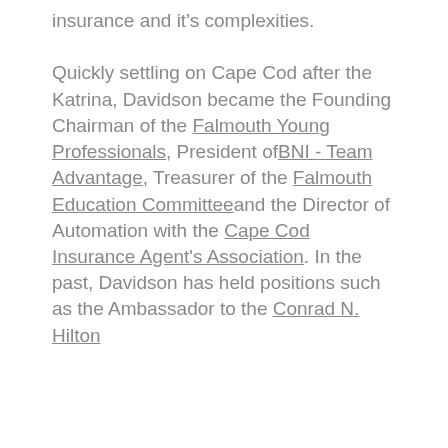insurance and it's complexities.

Quickly settling on Cape Cod after the Katrina, Davidson became the Founding Chairman of the Falmouth Young Professionals, President ofBNI - Team Advantage, Treasurer of the Falmouth Education Committeeand the Director of Automation with the Cape Cod Insurance Agent's Association. In the past, Davidson has held positions such as the Ambassador to the Conrad N. Hilton